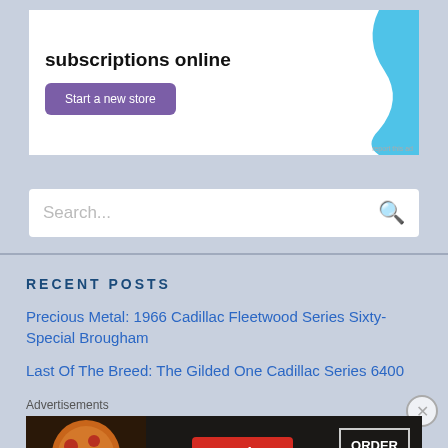[Figure (screenshot): Top advertisement banner with 'subscriptions online' bold text, a purple 'Start a new store' button, and a cyan/blue graphic shape on the right. White background with 'report this ad' text at bottom right.]
[Figure (screenshot): Search bar with placeholder text 'Search...' and a magnifying glass icon on the right. White background on light blue page.]
RECENT POSTS
Precious Metal: 1966 Cadillac Fleetwood Series Sixty-Special Brougham
Last Of The Breed: The Gilded One Cadillac Series 6400
Advertisements
[Figure (screenshot): Seamless food delivery advertisement banner showing pizza image on left, red Seamless logo badge in center, and ORDER NOW box on right. Dark background.]